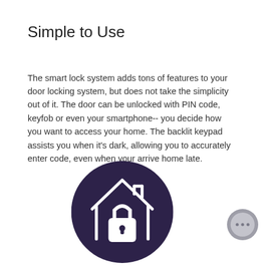Simple to Use
The smart lock system adds tons of features to your door locking system, but does not take the simplicity out of it. The door can be unlocked with PIN code, keyfob or even your smartphone-- you decide how you want to access your home. The backlit keypad assists you when it's dark, allowing you to accurately enter code, even when your arrive home late.
[Figure (illustration): Dark navy/purple circle with a white house and padlock icon inside, representing a smart home lock system.]
[Figure (illustration): Small grey circular chat/support button with three dots in the bottom right corner.]